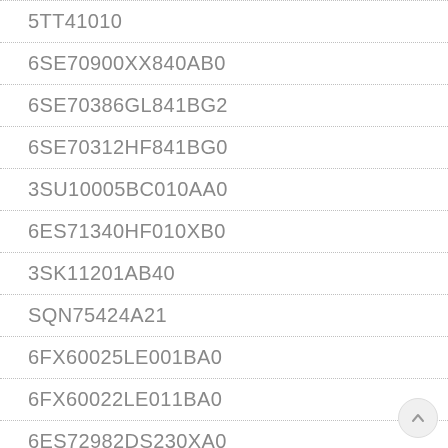5TT41010
6SE70900XX840AB0
6SE70386GL841BG2
6SE70312HF841BG0
3SU10005BC010AA0
6ES71340HF010XB0
3SK11201AB40
SQN75424A21
6FX60025LE001BA0
6FX60022LE011BA0
6ES72982DS230XA0
6ES71532BA010XB0